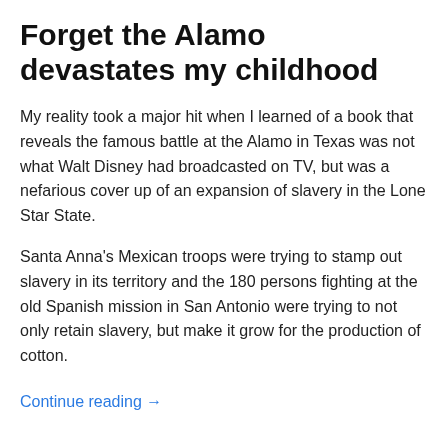Forget the Alamo devastates my childhood
My reality took a major hit when I learned of a book that reveals the famous battle at the Alamo in Texas was not what Walt Disney had broadcasted on TV, but was a nefarious cover up of an expansion of slavery in the Lone Star State.
Santa Anna's Mexican troops were trying to stamp out slavery in its territory and the 180 persons fighting at the old Spanish mission in San Antonio were trying to not only retain slavery, but make it grow for the production of cotton.
Continue reading →